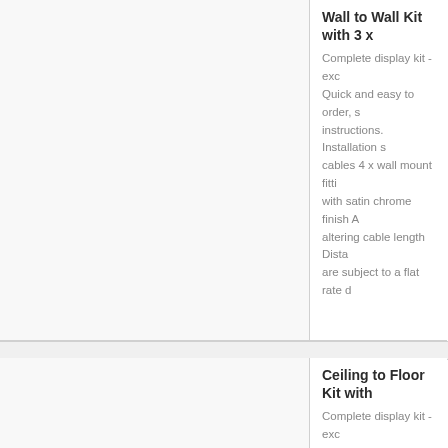[Figure (photo): Product image placeholder for Wall to Wall Kit - empty/white area with light gray border]
Wall to Wall Kit with 3 x
Complete display kit - exc Quick and easy to order, s instructions. Installation s cables 4 x wall mount fitti with satin chrome finish A altering cable length Dista are subject to a flat rate d
[Figure (photo): Product image placeholder for Ceiling to Floor Kit - empty/white area with light gray border]
Ceiling to Floor Kit with
Complete display kit - exc Quick and easy to order, s instructions. Installation s cables 4 x wall mount fitti clamps with satin chrome for altering cable length D prices are subject to a fla